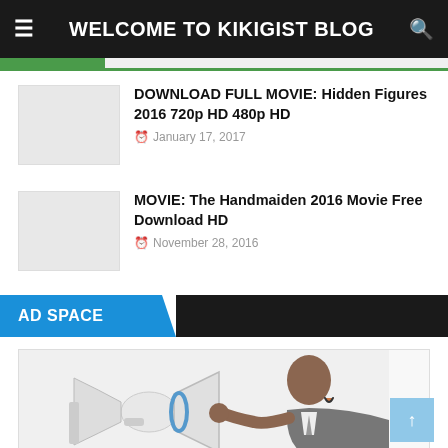WELCOME TO KIKIGIST BLOG
DOWNLOAD FULL MOVIE: Hidden Figures 2016 720p HD 480p HD — January 17, 2017
MOVIE: The Handmaiden 2016 Movie Free Download HD — November 28, 2016
AD SPACE
[Figure (photo): Man in suit holding a megaphone/bullhorn to his mouth, shouting, on white background]